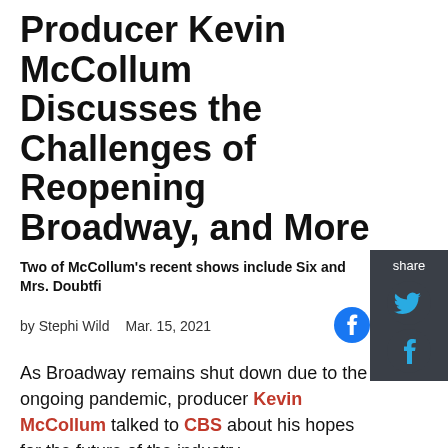Producer Kevin McCollum Discusses the Challenges of Reopening Broadway, and More
Two of McCollum's recent shows include Six and Mrs. Doubtfi…
by Stephi Wild   Mar. 15, 2021
As Broadway remains shut down due to the ongoing pandemic, producer Kevin McCollum talked to CBS about his hopes for the future of the industry.
He talked about his most recent musical, Six, which was set to open on March 12, the day the shutdown began.
"We did three-and-a-half weeks of previews, where the theater was filled and it was very exciting. We